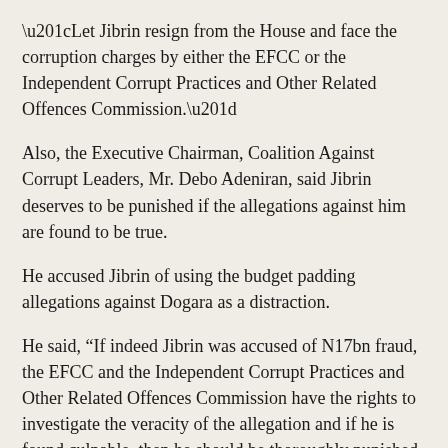“Let Jibrin resign from the House and face the corruption charges by either the EFCC or the Independent Corrupt Practices and Other Related Offences Commission.”
Also, the Executive Chairman, Coalition Against Corrupt Leaders, Mr. Debo Adeniran, said Jibrin deserves to be punished if the allegations against him are found to be true.
He accused Jibrin of using the budget padding allegations against Dogara as a distraction.
He said, “If indeed Jibrin was accused of N17bn fraud, the EFCC and the Independent Corrupt Practices and Other Related Offences Commission have the rights to investigate the veracity of the allegation and if he is found culpable, then he should be thoroughly punished.
“It is like he wants to cover up the crime he had committed and remain the chairman of the